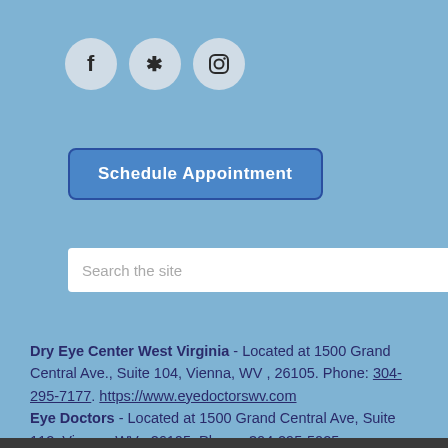[Figure (illustration): Three social media icons in circular grey backgrounds: Facebook (f), Yelp (asterisk/star), and Instagram (camera/square)]
Schedule Appointment
Search the site
Dry Eye Center West Virginia - Located at 1500 Grand Central Ave., Suite 104, Vienna, WV , 26105. Phone: 304-295-7177. https://www.eyedoctorswv.com Eye Doctors - Located at 1500 Grand Central Ave, Suite 112, Vienna, WV , 26105. Phone: 304-295-5025. https://www.eyedoctorswv.com